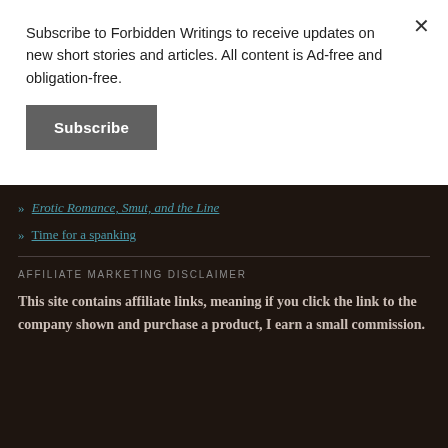Subscribe to Forbidden Writings to receive updates on new short stories and articles. All content is Ad-free and obligation-free.
Subscribe
» Erotic Romance, Smut, and the Line
» Time for a spanking
AFFILIATE MARKETING DISCLAIMER
This site contains affiliate links, meaning if you click the link to the company shown and purchase a product, I earn a small commission.